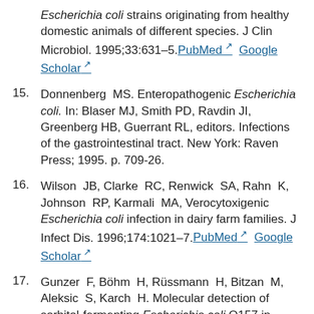(continuation) Escherichia coli strains originating from healthy domestic animals of different species. J Clin Microbiol. 1995;33:631–5. PubMed Google Scholar
15. Donnenberg MS. Enteropathogenic Escherichia coli. In: Blaser MJ, Smith PD, Ravdin JI, Greenberg HB, Guerrant RL, editors. Infections of the gastrointestinal tract. New York: Raven Press; 1995. p. 709-26.
16. Wilson JB, Clarke RC, Renwick SA, Rahn K, Johnson RP, Karmali MA, Verocytoxigenic Escherichia coli infection in dairy farm families. J Infect Dis. 1996;174:1021–7. PubMed Google Scholar
17. Gunzer F, Böhm H, Rüssmann H, Bitzan M, Aleksic S, Karch H. Molecular detection of sorbitol-fermenting Escherichia coli O157 in